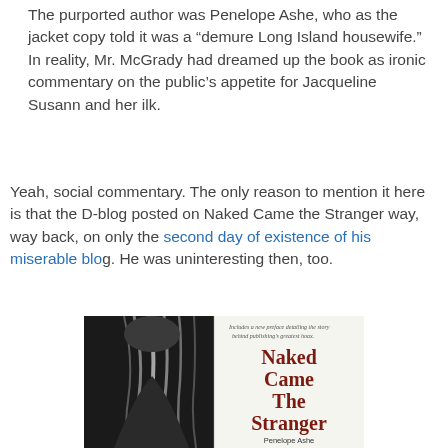The purported author was Penelope Ashe, who as the jacket copy told it was a “demure Long Island housewife.” In reality, Mr. McGrady had dreamed up the book as ironic commentary on the public’s appetite for Jacqueline Susann and her ilk.
Yeah, social commentary. The only reason to mention it here is that the D-blog posted on Naked Came the Stranger way, way back, on only the second day of existence of his miserable blog. He was uninteresting then, too.
[Figure (photo): Book cover of 'Naked Came The Stranger' by Penelope Ashe, showing a black-and-white photo of a woman with long hair on the left half and the book title in large dark red letters on the right half, with small text at the top reading 'Includes a new preface detailing the story behind publishing’s greatest hoax.' and author name at the bottom.]